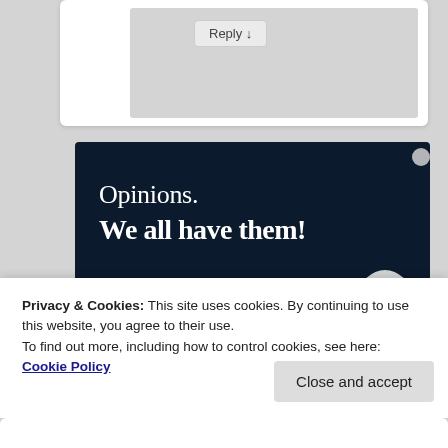[Figure (screenshot): Comment reply box UI element with a 'Reply ↓' button on a gray background inside a white card]
[Figure (screenshot): Dark navy advertisement banner with white serif text reading 'Opinions. We all have them!' with a pink button and circular element at bottom]
Privacy & Cookies: This site uses cookies. By continuing to use this website, you agree to their use.
To find out more, including how to control cookies, see here: Cookie Policy
Close and accept